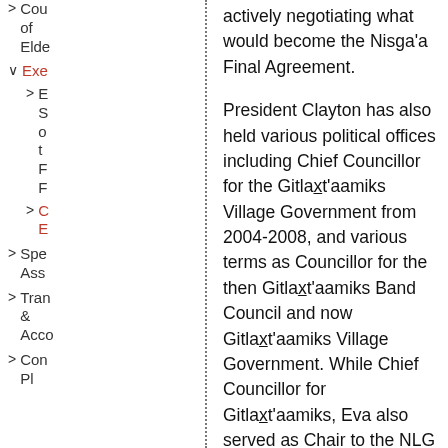> Cou of Elde
v Exe
> E S o t F F
> C E
> Spe Ass
> Tran & Acco
> Con Pl
actively negotiating what would become the Nisga'a Final Agreement.
President Clayton has also held various political offices including Chief Councillor for the Gitlaxt'aamiks Village Government from 2004-2008, and various terms as Councillor for the then Gitlaxt'aamiks Band Council and now Gitlaxt'aamiks Village Government. While Chief Councillor for Gitlaxt'aamiks, Eva also served as Chair to the NLG Programs & Services Committee and has also represented her village government on the Finance Committee.